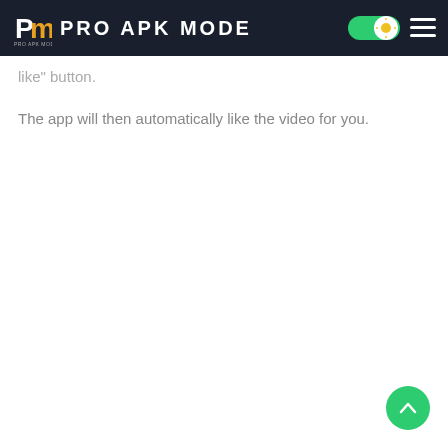PRO APK MODE
like button.
The app will then automatically like the video for you.